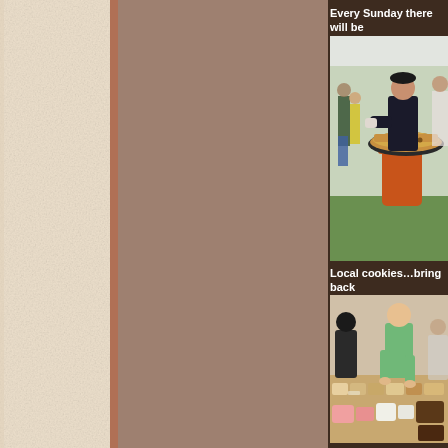[Figure (photo): Left decorative panel with light beige/cream texture background]
Every Sunday there will be
[Figure (photo): A man in black clothing cooking paella in a large pan at an outdoor food festival under a marquee tent]
Local cookies…bring back
[Figure (photo): A woman in a green polo shirt arranging cookies and baked goods displayed on a market stall table]